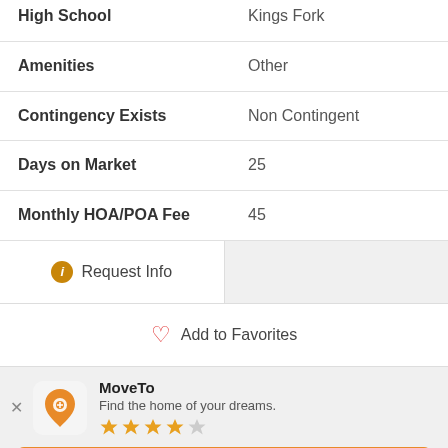| High School | Kings Fork |
| Amenities | Other |
| Contingency Exists | Non Contingent |
| Days on Market | 25 |
| Monthly HOA/POA Fee | 45 |
Request Info
Add to Favorites
MoveTo
Find the home of your dreams.
Use App